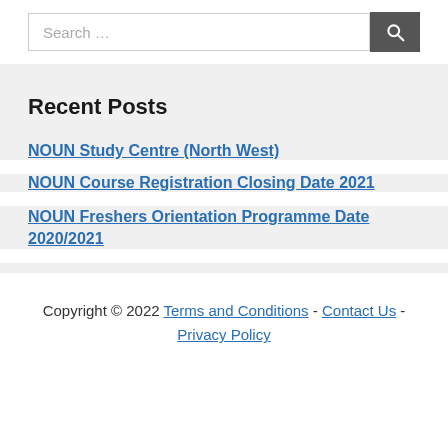Search …
Recent Posts
NOUN Study Centre (North West)
NOUN Course Registration Closing Date 2021
NOUN Freshers Orientation Programme Date 2020/2021
Copyright © 2022 Terms and Conditions - Contact Us - Privacy Policy